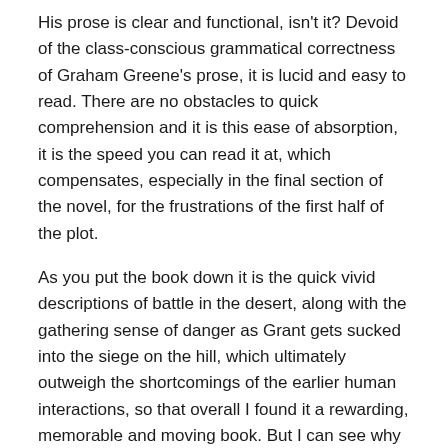His prose is clear and functional, isn't it? Devoid of the class-conscious grammatical correctness of Graham Greene's prose, it is lucid and easy to read. There are no obstacles to quick comprehension and it is this ease of absorption, it is the speed you can read it at, which compensates, especially in the final section of the novel, for the frustrations of the first half of the plot.
As you put the book down it is the quick vivid descriptions of battle in the desert, along with the gathering sense of danger as Grant gets sucked into the siege on the hill, which ultimately outweigh the shortcomings of the earlier human interactions, so that overall I found it a rewarding, memorable and moving book. But I can see why nobody tried to make it into a film. And also why, like so many other Innes books, it is now largely unread.